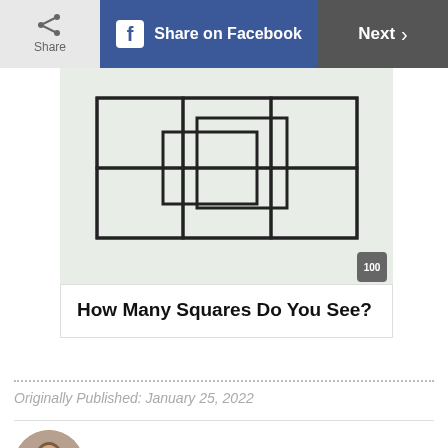Share | Share on Facebook | Next
[Figure (illustration): A grid puzzle showing overlapping squares of different sizes on a light green background, used as a visual puzzle asking 'How Many Squares Do You See?']
How Many Squares Do You See?
Originally Published: January 25, 2022
Morgan Cutolo
Morgan is the Senior Production Editor at Trusted Media Brands. She graduated from the